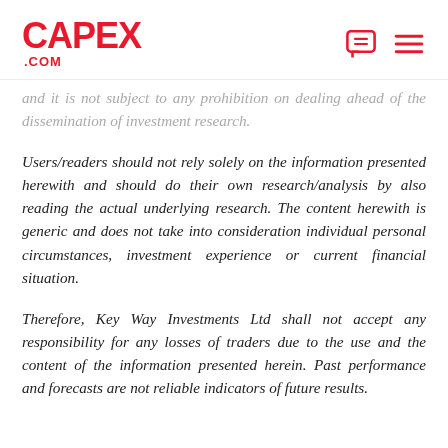CAPEX .COM
and it is not subject to any prohibition on dealing ahead of the dissemination of investment research.
Users/readers should not rely solely on the information presented herewith and should do their own research/analysis by also reading the actual underlying research. The content herewith is generic and does not take into consideration individual personal circumstances, investment experience or current financial situation.
Therefore, Key Way Investments Ltd shall not accept any responsibility for any losses of traders due to the use and the content of the information presented herein. Past performance and forecasts are not reliable indicators of future results.